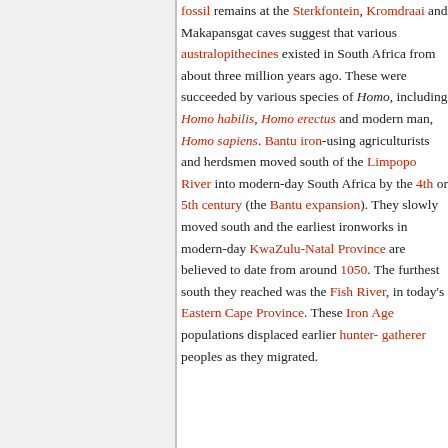fossil remains at the Sterkfontein, Kromdraai and Makapansgat caves suggest that various australopithecines existed in South Africa from about three million years ago. These were succeeded by various species of Homo, including Homo habilis, Homo erectus and modern man, Homo sapiens. Bantu iron-using agriculturists and herdsmen moved south of the Limpopo River into modern-day South Africa by the 4th or 5th century (the Bantu expansion). They slowly moved south and the earliest ironworks in modern-day KwaZulu-Natal Province are believed to date from around 1050. The furthest south they reached was the Fish River, in today's Eastern Cape Province. These Iron Age populations displaced earlier hunter-gatherer peoples as they migrated.